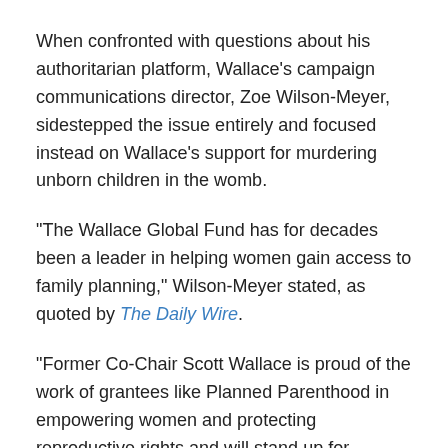When confronted with questions about his authoritarian platform, Wallace's campaign communications director, Zoe Wilson-Meyer, sidestepped the issue entirely and focused instead on Wallace's support for murdering unborn children in the womb.
“The Wallace Global Fund has for decades been a leader in helping women gain access to family planning,” Wilson-Meyer stated, as quoted by The Daily Wire.
“Former Co-Chair Scott Wallace is proud of the work of grantees like Planned Parenthood in empowering women and protecting reproductive rights and will stand up for Pennsylvania women.”
You really can’t make this stuff up, but it’s important to note that Wallace himself is calling on “incorruptible characters”